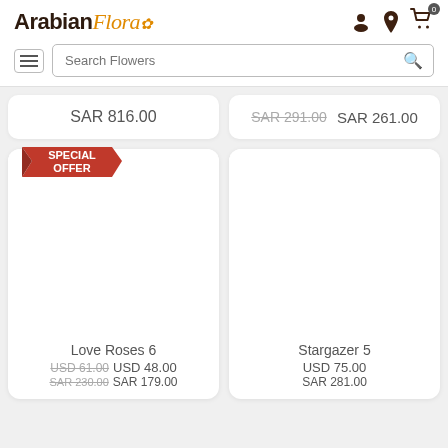Arabian Flora — logo and navigation header with search bar
SAR 816.00
SAR 291.00 SAR 261.00
[Figure (infographic): Special Offer badge ribbon]
Love Roses 6
USD 61.00 USD 48.00
SAR 230.00 SAR 179.00
Stargazer 5
USD 75.00
SAR 281.00